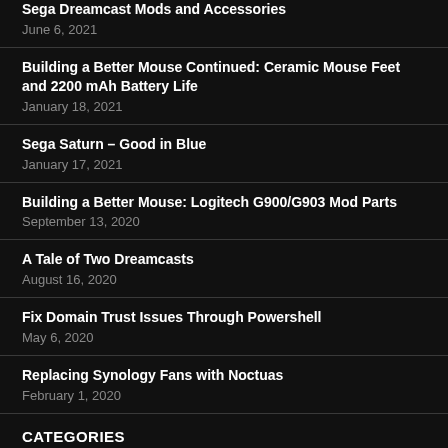Sega Dreamcast Mods and Accessories
June 6, 2021
Building a Better Mouse Continued: Ceramic Mouse Feet and 2200 mAh Battery Life
January 18, 2021
Sega Saturn – Good in Blue
January 17, 2021
Building a Better Mouse: Logitech G900/G903 Mod Parts
September 13, 2020
A Tale of Two Dreamcasts
August 16, 2020
Fix Domain Trust Issues Through Powershell
May 6, 2020
Replacing Synology Fans with Noctuas
February 1, 2020
CATEGORIES